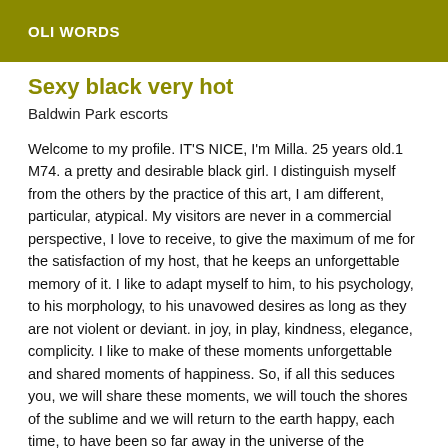OLI WORDS
Sexy black very hot
Baldwin Park escorts
Welcome to my profile. IT'S NICE, I'm Milla. 25 years old.1 M74. a pretty and desirable black girl. I distinguish myself from the others by the practice of this art, I am different, particular, atypical. My visitors are never in a commercial perspective, I love to receive, to give the maximum of me for the satisfaction of my host, that he keeps an unforgettable memory of it. I like to adapt myself to him, to his psychology, to his morphology, to his unavowed desires as long as they are not violent or deviant. in joy, in play, kindness, elegance, complicity. I like to make of these moments unforgettable and shared moments of happiness. So, if all this seduces you, we will share these moments, we will touch the shores of the sublime and we will return to the earth happy, each time, to have been so far away in the universe of the